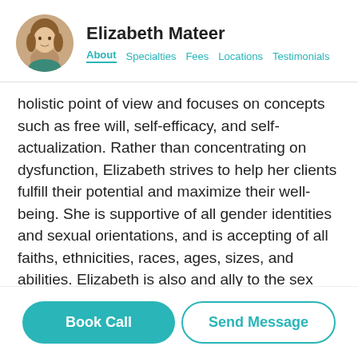Elizabeth Mateer — About | Specialties | Fees | Locations | Testimonials
holistic point of view and focuses on concepts such as free will, self-efficacy, and self-actualization. Rather than concentrating on dysfunction, Elizabeth strives to help her clients fulfill their potential and maximize their well-being. She is supportive of all gender identities and sexual orientations, and is accepting of all faiths, ethnicities, races, ages, sizes, and abilities. Elizabeth is also and ally to the sex worker community and is poly/kink affirming.
Before starting her practice, Elizabeth worked as a therapist at Montefiore Medical Center in the Bronx, NY, leading both individual and group therapy for those struggling with